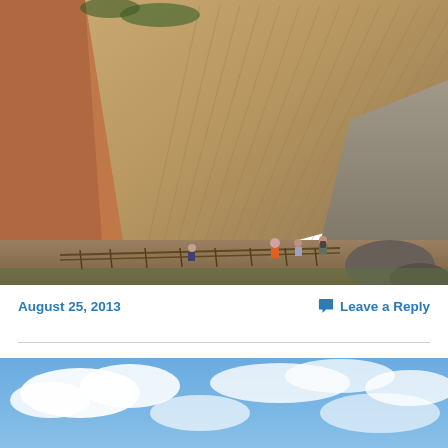[Figure (photo): Photo of a rocky canyon path with hikers walking along a trail under overhanging striated rock formations with greenery, orange/red rock walls visible]
August 25, 2013
Leave a Reply
[Figure (photo): Photo of a blue sky with white clouds, partially cropped at bottom of page]